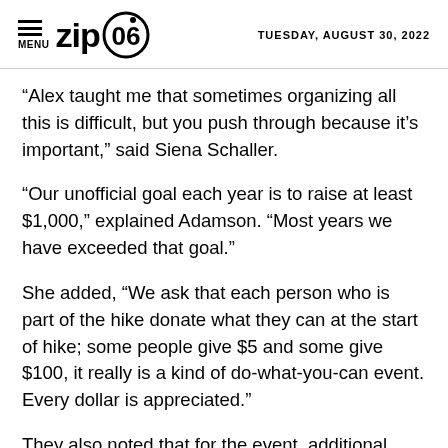MENU | zip06 | TUESDAY, AUGUST 30, 2022
“Alex taught me that sometimes organizing all this is difficult, but you push through because it’s important,” said Siena Schaller.
“Our unofficial goal each year is to raise at least $1,000,” explained Adamson. “Most years we have exceeded that goal.”
She added, “We ask that each person who is part of the hike donate what they can at the start of hike; some people give $5 and some give $100, it really is a kind of do-what-you-can event. Every dollar is appreciated.”
They also noted that for the event, additional...